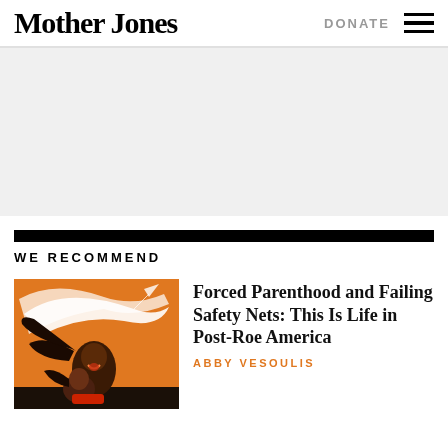Mother Jones
DONATE
[Figure (illustration): Light gray advertisement placeholder area]
[Figure (other): Black horizontal bar divider]
WE RECOMMEND
[Figure (illustration): Illustration of two women with flowing hair on an orange background, depicting forced parenthood theme]
Forced Parenthood and Failing Safety Nets: This Is Life in Post-Roe America
ABBY VESOULIS